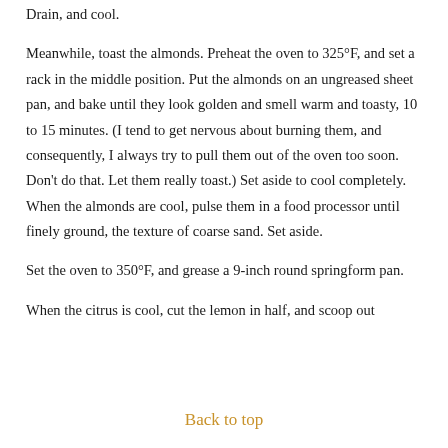Drain, and cool.
Meanwhile, toast the almonds. Preheat the oven to 325°F, and set a rack in the middle position. Put the almonds on an ungreased sheet pan, and bake until they look golden and smell warm and toasty, 10 to 15 minutes. (I tend to get nervous about burning them, and consequently, I always try to pull them out of the oven too soon. Don't do that. Let them really toast.) Set aside to cool completely. When the almonds are cool, pulse them in a food processor until finely ground, the texture of coarse sand. Set aside.
Set the oven to 350°F, and grease a 9-inch round springform pan.
When the citrus is cool, cut the lemon in half, and scoop out
Back to top